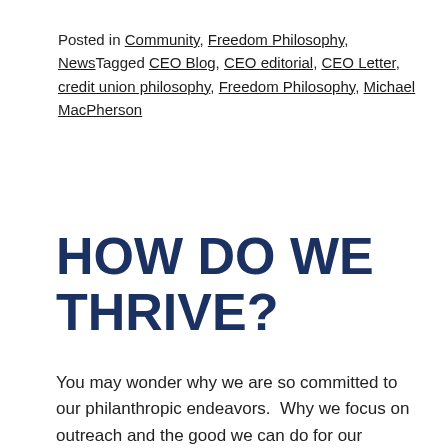Posted in Community, Freedom Philosophy, NewsTagged CEO Blog, CEO editorial, CEO Letter, credit union philosophy, Freedom Philosophy, Michael MacPherson
HOW DO WE THRIVE?
You may wonder why we are so committed to our philanthropic endeavors.  Why we focus on outreach and the good we can do for our